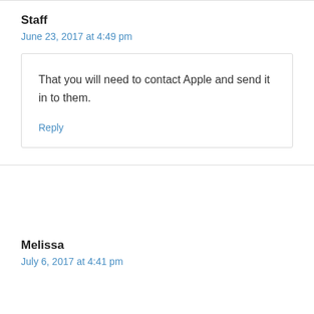Staff
June 23, 2017 at 4:49 pm
That you will need to contact Apple and send it in to them.
Reply
Melissa
July 6, 2017 at 4:41 pm